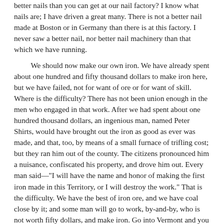better nails than you can get at our nail factory? I know what nails are; I have driven a great many. There is not a better nail made at Boston or in Germany than there is at this factory. I never saw a better nail, nor better nail machinery than that which we have running.
We should now make our own iron. We have already spent about one hundred and fifty thousand dollars to make iron here, but we have failed, not for want of ore or for want of skill. Where is the difficulty? There has not been union enough in the men who engaged in that work. After we had spent about one hundred thousand dollars, an ingenious man, named Peter Shirts, would have brought out the iron as good as ever was made, and that, too, by means of a small furnace of trifling cost; but they ran him out of the county. The citizens pronounced him a nuisance, confiscated his property, and drove him out. Every man said—"I will have the name and honor of making the first iron made in this Territory, or I will destroy the work." That is the difficulty. We have the best of iron ore, and we have coal close by it; and some man will go to work, by-and-by, who is not worth fifty dollars, and make iron. Go into Vermont and you will there see a farmer, when he has a little leisure, take his wagon, get the ore, smelt it, hammer it out, and make two or three hundred pounds of iron in a day. He